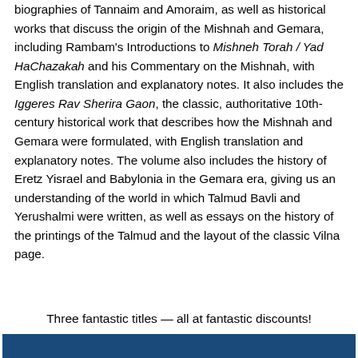biographies of Tannaim and Amoraim, as well as historical works that discuss the origin of the Mishnah and Gemara, including Rambam's Introductions to Mishneh Torah / Yad HaChazakah and his Commentary on the Mishnah, with English translation and explanatory notes. It also includes the Iggeres Rav Sherira Gaon, the classic, authoritative 10th-century historical work that describes how the Mishnah and Gemara were formulated, with English translation and explanatory notes. The volume also includes the history of Eretz Yisrael and Babylonia in the Gemara era, giving us an understanding of the world in which Talmud Bavli and Yerushalmi were written, as well as essays on the history of the printings of the Talmud and the layout of the classic Vilna page.
Three fantastic titles — all at fantastic discounts!